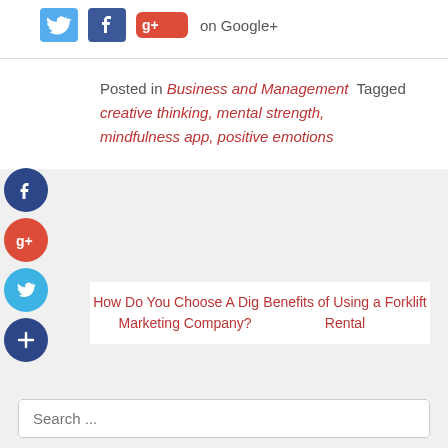[Figure (infographic): Social sharing buttons row: Twitter bird icon (blue), Facebook icon (blue), Google+ button (red) with 'on Google+' label]
Posted in Business and Management  Tagged creative thinking, mental strength, mindfulness app, positive emotions
[Figure (infographic): Social sidebar with four circular icons: Facebook (dark blue, f), Google+ (red, g+), Twitter (light blue, bird), Plus/Add (dark blue, +)]
How Do You Choose A Digital Marketing Company?
Benefits of Using a Forklift Rental
Search ...